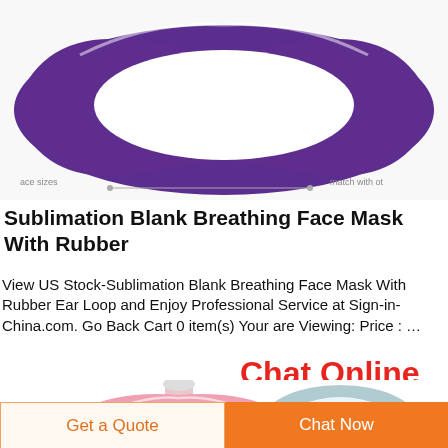[Figure (photo): Purple sublimation breathing face mask with rubber, shown from above with white filter interior visible. Small text labels 'ace sizes' on left and 'match with ot' on right.]
Sublimation Blank Breathing Face Mask With Rubber
View US Stock-Sublimation Blank Breathing Face Mask With Rubber Ear Loop and Enjoy Professional Service at Sign-in-China.com. Go Back Cart 0 item(s) Your are Viewing: Price : …
Chat Online
[Figure (photo): Two face masks at bottom: pink mask on left, teal/white mask on right, partially cut off.]
Get a Quote
Chat Now